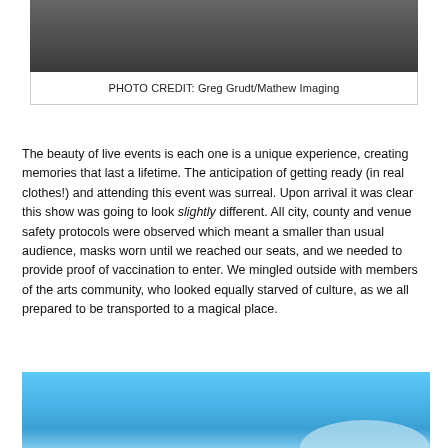[Figure (photo): Dark photograph, partially visible at top of page]
PHOTO CREDIT: Greg Grudt/Mathew Imaging
The beauty of live events is each one is a unique experience, creating memories that last a lifetime. The anticipation of getting ready (in real clothes!) and attending this event was surreal. Upon arrival it was clear this show was going to look slightly different. All city, county and venue safety protocols were observed which meant a smaller than usual audience, masks worn until we reached our seats, and we needed to provide proof of vaccination to enter. We mingled outside with members of the arts community, who looked equally starved of culture, as we all prepared to be transported to a magical place.
[Figure (photo): Blue sky photograph, partially visible at bottom of page]